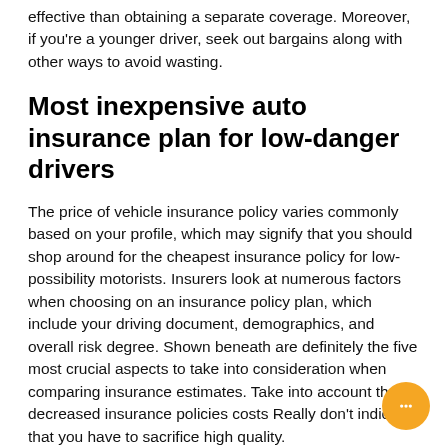effective than obtaining a separate coverage. Moreover, if you're a younger driver, seek out bargains along with other ways to avoid wasting.
Most inexpensive auto insurance plan for low-danger drivers
The price of vehicle insurance policy varies commonly based on your profile, which may signify that you should shop around for the cheapest insurance policy for low-possibility motorists. Insurers look at numerous factors when choosing on an insurance policy plan, which include your driving document, demographics, and overall risk degree. Shown beneath are definitely the five most crucial aspects to take into consideration when comparing insurance estimates. Take into account that decreased insurance policies costs Really don't indicate that you have to sacrifice high quality.
To begin with, consider your zip code. Those people in high crime areas will confront better costs. In addition, insurance